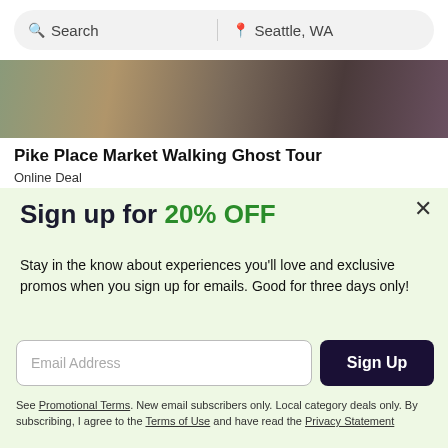Search | Seattle, WA
[Figure (photo): Cropped photo of Pike Place Market area showing people and market scene]
Pike Place Market Walking Ghost Tour
Online Deal
Sign up for 20% OFF
Stay in the know about experiences you'll love and exclusive promos when you sign up for emails. Good for three days only!
Email Address [input] Sign Up
See Promotional Terms. New email subscribers only. Local category deals only. By subscribing, I agree to the Terms of Use and have read the Privacy Statement